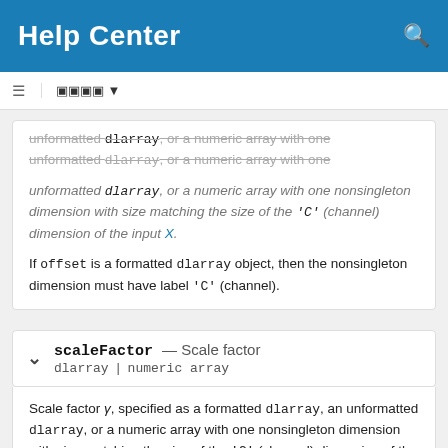Help Center
unformatted dlarray, or a numeric array with one nonsingleton dimension with size matching the size of the 'C' (channel) dimension of the input X.

If offset is a formatted dlarray object, then the nonsingleton dimension must have label 'C' (channel).
scaleFactor — Scale factor
dlarray | numeric array
Scale factor γ, specified as a formatted dlarray, an unformatted dlarray, or a numeric array with one nonsingleton dimension with size matching the size of the 'C' (channel) dimension of the input X.

If scaleFactor is a formatted dlarray object, then the nonsingleton dimension must have label 'C' (channel).